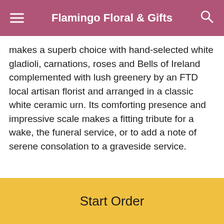Flamingo Floral & Gifts
makes a superb choice with hand-selected white gladioli, carnations, roses and Bells of Ireland complemented with lush greenery by an FTD local artisan florist and arranged in a classic white ceramic urn. Its comforting presence and impressive scale makes a fitting tribute for a wake, the funeral service, or to add a note of serene consolation to a graveside service.
Product ID S2-4983D
Approximately
What People Are Saying
Harrish